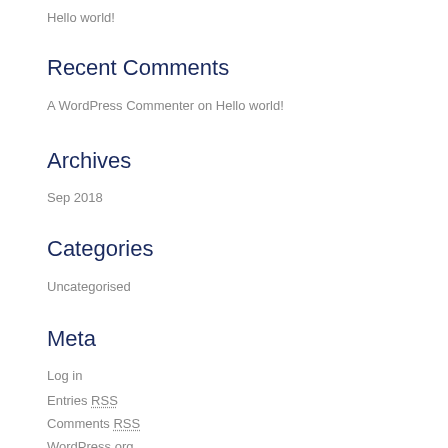Hello world!
Recent Comments
A WordPress Commenter on Hello world!
Archives
Sep 2018
Categories
Uncategorised
Meta
Log in
Entries RSS
Comments RSS
WordPress.org